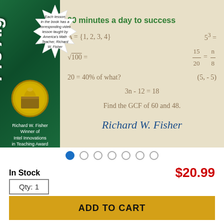[Figure (photo): Book cover for Pre-Algebra by Richard W. Fisher. Left side has green background with rotated title text 'Pre-Alg...' and a gold medal emblem. A starburst badge reads 'Each lesson in the book has a corresponding video lesson taught by America's Math Teacher, Richard W. Fisher'. Right side shows math problems on beige grid background: '20 minutes a day to success', A={1,2,3,4}, 5^3=, sqrt(100)=, 15/20=n/8, 20=40% of what?, (5,-5), 3n-12=18, Find the GCF of 60 and 48. Author name 'Richard W. Fisher' in blue italic.]
In Stock
$20.99
Qty: 1
ADD TO CART